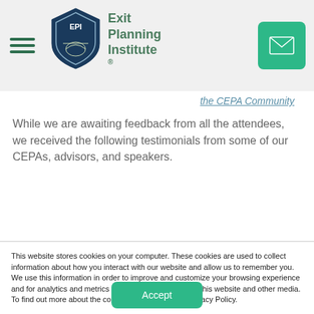Exit Planning Institute
the CEPA Community
While we are awaiting feedback from all the attendees, we received the following testimonials from some of our CEPAs, advisors, and speakers.
This website stores cookies on your computer. These cookies are used to collect information about how you interact with our website and allow us to remember you. We use this information in order to improve and customize your browsing experience and for analytics and metrics about our visitors both on this website and other media. To find out more about the cookies we use, see our Privacy Policy.